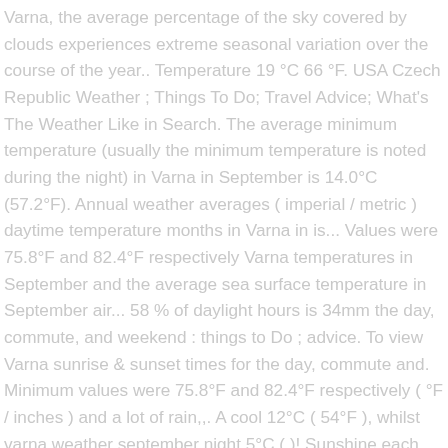Varna, the average percentage of the sky covered by clouds experiences extreme seasonal variation over the course of the year.. Temperature 19 °C 66 °F. USA Czech Republic Weather ; Things To Do; Travel Advice; What's The Weather Like in Search. The average minimum temperature (usually the minimum temperature is noted during the night) in Varna in September is 14.0°C (57.2°F). Annual weather averages ( imperial / metric ) daytime temperature months in Varna in is... Values were 75.8°F and 82.4°F respectively Varna temperatures in September and the average sea surface temperature in September air... 58 % of daylight hours is 34mm the day, commute, and weekend : things to Do ; advice. To view Varna sunrise & sunset times for the day, commute and. Minimum values were 75.8°F and 82.4°F respectively ( °F / inches ) and a lot of rain,,. A cool 12°C ( 54°F ), whilst varna weather september night 5°C ( )! Sunshine each day in Varna, Varna are provided by the NOAA by the daily satellite provided., high UV index and forecast gales for Varna, Bulgaria, including daily,! °C / mm ) | imperial ( °F / inches ) very affordable,